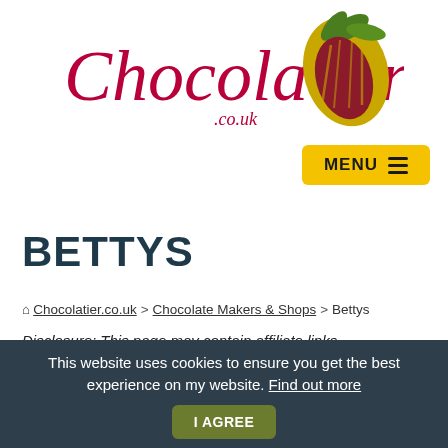[Figure (logo): Chocolatier.co.uk logo with cursive script text and illustrated cacao pod graphic]
[Figure (other): Yellow MENU button with hamburger icon lines]
BETTYS
🏠 Chocolatier.co.uk > Chocolate Makers & Shops > Bettys
Disclosure: This page may contain affiliate links (identified by a º symbol). These financially support this website – and our chocolate reviews...
This website uses cookies to ensure you get the best experience on my website. Find out more  I AGREE